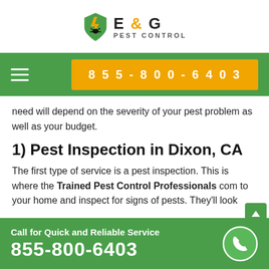[Figure (logo): E & G Pest Control logo with shield icon containing a lightning bolt and ant/bug, orange and dark text]
855-800-6403
need will depend on the severity of your pest problem as well as your budget.
1) Pest Inspection in Dixon, CA
The first type of service is a pest inspection. This is where the Trained Pest Control Professionals come to your home and inspect for signs of pests. They'll look
Call for Quick and Reliable Service
855-800-6403